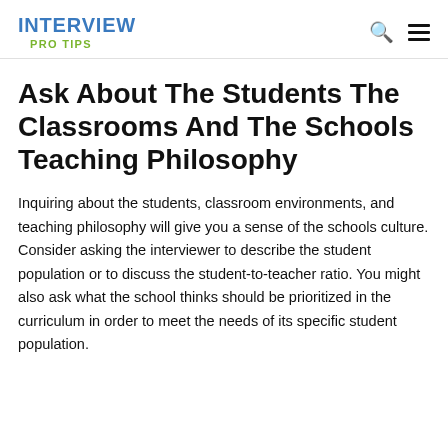INTERVIEW PRO TIPS
Ask About The Students The Classrooms And The Schools Teaching Philosophy
Inquiring about the students, classroom environments, and teaching philosophy will give you a sense of the schools culture. Consider asking the interviewer to describe the student population or to discuss the student-to-teacher ratio. You might also ask what the school thinks should be prioritized in the curriculum in order to meet the needs of its specific student population.